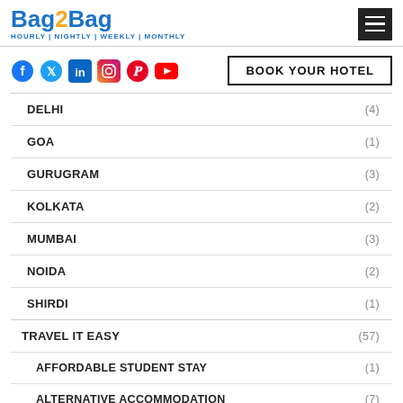Bag2Bag | HOURLY | NIGHTLY | WEEKLY | MONTHLY
[Figure (logo): Bag2Bag logo with tagline HOURLY | NIGHTLY | WEEKLY | MONTHLY]
[Figure (infographic): Social media icons: Facebook, Twitter, LinkedIn, Instagram, Pinterest, YouTube]
BOOK YOUR HOTEL
DELHI (4)
GOA (1)
GURUGRAM (3)
KOLKATA (2)
MUMBAI (3)
NOIDA (2)
SHIRDI (1)
TRAVEL IT EASY (57)
AFFORDABLE STUDENT STAY (1)
ALTERNATIVE ACCOMMODATION (7)